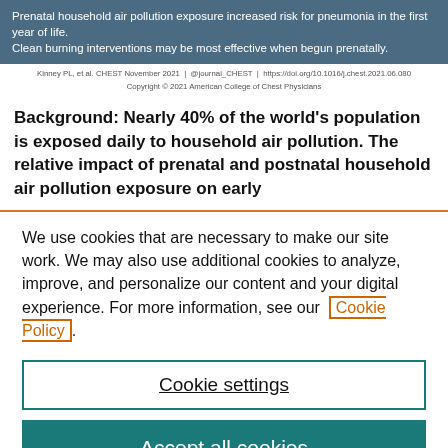Prenatal household air pollution exposure increased risk for pneumonia in the first year of life. Clean burning interventions may be most effective when begun prenatally.
Kinney PL, et al. CHEST November 2021 | @journal_CHEST | https://doi.org/10.1016/j.chest.2021.06.080
Copyright © 2021 American College of Chest Physicians
Background: Nearly 40% of the world's population is exposed daily to household air pollution. The relative impact of prenatal and postnatal household air pollution exposure on early
We use cookies that are necessary to make our site work. We may also use additional cookies to analyze, improve, and personalize our content and your digital experience. For more information, see our Cookie Policy.
Cookie settings
Accept all cookies